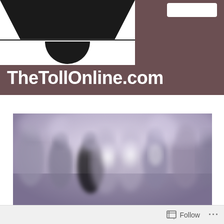[Figure (logo): TheTollOnline.com website logo and banner: dark brownish-mauve background with a white rectangular logo area showing a black trapezoid shape on top and a white bar with black semicircle below, and the text TheTollOnline.com in large bold white font]
[Figure (photo): Blurry artistic photo of multiple silhouetted humanoid figures backlit with glowing white/purple light against a purple-grey background, creating a ghostly crowd effect]
[Figure (other): Bottom bar with Follow button and ellipsis (...)]